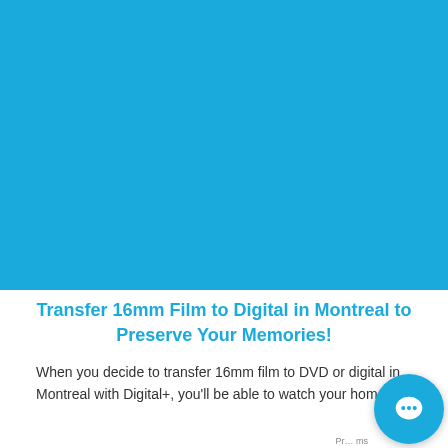[Figure (photo): Large solid blue rectangle background image occupying the top portion of the page]
Transfer 16mm Film to Digital in Montreal to Preserve Your Memories!
When you decide to transfer 16mm film to DVD or digital in Montreal with Digital+, you'll be able to watch your home